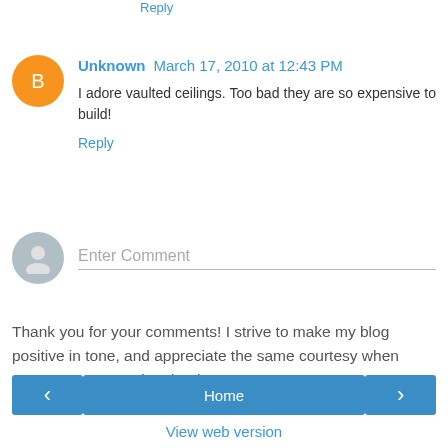Reply
Unknown  March 17, 2010 at 12:43 PM
I adore vaulted ceilings. Too bad they are so expensive to build!
Reply
Enter Comment
Thank you for your comments! I strive to make my blog positive in tone, and appreciate the same courtesy when comments are made. Thank you!
Home
View web version